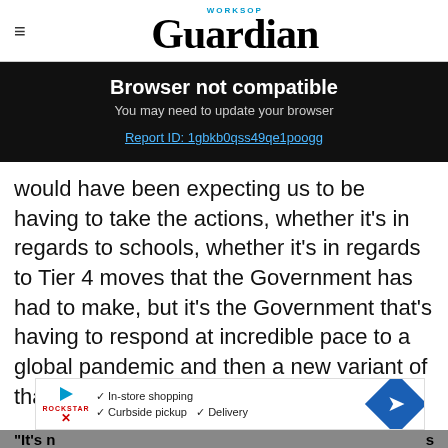Worksop Guardian
Browser not compatible
You may need to update your browser
Report ID: 1gbkb0qss49qe1poogg
would have been expecting us to be having to take the actions, whether it's in regards to schools, whether it's in regards to Tier 4 moves that the Government has had to make, but it's the Government that's having to respond at incredible pace to a global pandemic and then a new variant of that virus.
"It's n… s
[Figure (screenshot): Advertisement banner with play button, Rockstar logo, checkmarks for In-store shopping, Curbside pickup, Delivery, and a blue navigation arrow icon]